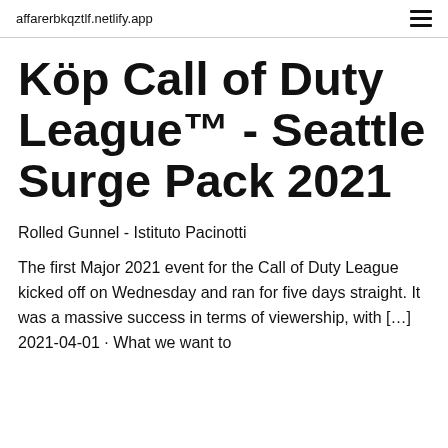affarerbkqztlf.netlify.app
Köp Call of Duty League™ - Seattle Surge Pack 2021
Rolled Gunnel - Istituto Pacinotti
The first Major 2021 event for the Call of Duty League kicked off on Wednesday and ran for five days straight. It was a massive success in terms of viewership, with […] 2021-04-01 · What we want to